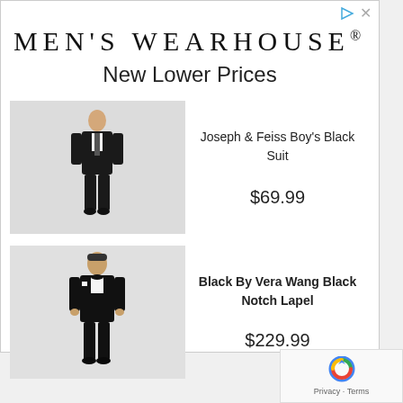MEN'S WEARHOUSE®
New Lower Prices
[Figure (photo): Boy in black suit — Joseph & Feiss Boy's Black Suit]
Joseph & Feiss Boy's Black Suit
$69.99
[Figure (photo): Man in black tuxedo — Black By Vera Wang Black Notch Lapel]
Black By Vera Wang Black Notch Lapel
$229.99
Privacy · Terms